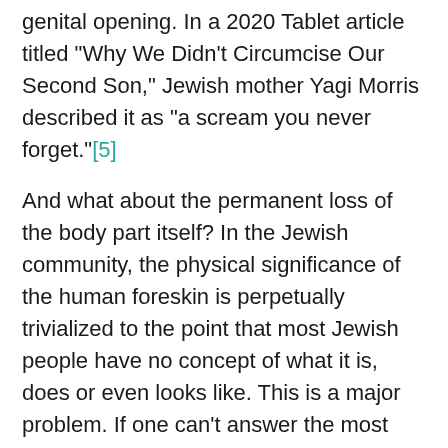genital opening. In a 2020 Tablet article titled "Why We Didn't Circumcise Our Second Son," Jewish mother Yagi Morris described it as "a scream you never forget."[5]
And what about the permanent loss of the body part itself? In the Jewish community, the physical significance of the human foreskin is perpetually trivialized to the point that most Jewish people have no concept of what it is, does or even looks like. This is a major problem. If one can't answer the most basic question of "what is a foreskin?" then how can one confidently discuss this topic at all?
The difference between a circumcised and a whole, natural penis is significant. There are several plainly apparent differences in the mechanisms and attributes of the natural penis compared to the circumcised one. And I'm not talking about some speculative